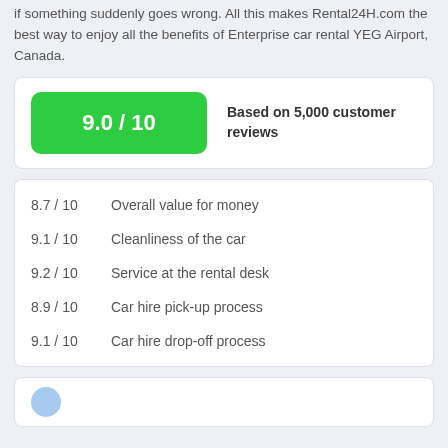if something suddenly goes wrong. All this makes Rental24H.com the best way to enjoy all the benefits of Enterprise car rental YEG Airport, Canada.
| Score | Category |
| --- | --- |
| 9.0 / 10 | Based on 5,000 customer reviews |
| Score | Category |
| --- | --- |
| 8.7 / 10 | Overall value for money |
| 9.1 / 10 | Cleanliness of the car |
| 9.2 / 10 | Service at the rental desk |
| 8.9 / 10 | Car hire pick-up process |
| 9.1 / 10 | Car hire drop-off process |